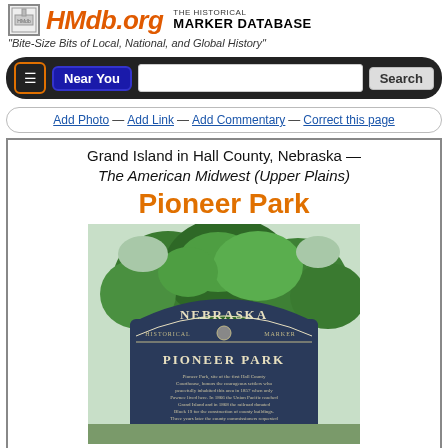HMdb.org THE HISTORICAL MARKER DATABASE
"Bite-Size Bits of Local, National, and Global History"
Navigation bar with hamburger menu, Near You button, search input, and Search button
Add Photo — Add Link — Add Commentary — Correct this page
Grand Island in Hall County, Nebraska — The American Midwest (Upper Plains)
Pioneer Park
[Figure (photo): Photo of the Pioneer Park Nebraska Historical Marker sign with trees in background. Sign reads PIONEER PARK with descriptive text about the site being the first Hall County Courthouse location.]